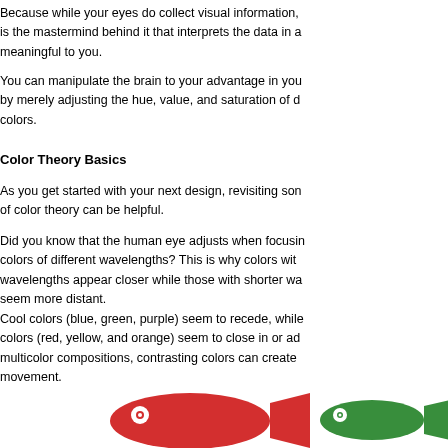Because while your eyes do collect visual information, is the mastermind behind it that interprets the data in a meaningful to you.
You can manipulate the brain to your advantage in you by merely adjusting the hue, value, and saturation of d colors.
Color Theory Basics
As you get started with your next design, revisiting son of color theory can be helpful.
Did you know that the human eye adjusts when focusin colors of different wavelengths? This is why colors wit wavelengths appear closer while those with shorter wa seem more distant.
Cool colors (blue, green, purple) seem to recede, while colors (red, yellow, and orange) seem to close in or ad multicolor compositions, contrasting colors can create movement.
[Figure (illustration): Two fish illustrations side by side: a large red fish on the left and a smaller green fish on the right, demonstrating color contrast and perceived depth.]